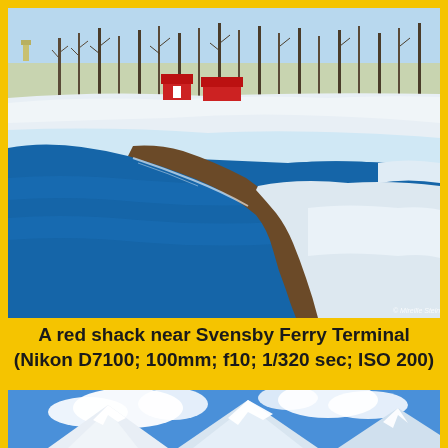[Figure (photo): Winter landscape photo showing a blue fjord/river with rocky shoreline, snow-covered ground, red shack buildings, and bare trees in the background near Svensby Ferry Terminal, Norway.]
A red shack near Svensby Ferry Terminal (Nikon D7100; 100mm; f10; 1/320 sec; ISO 200)
[Figure (photo): Partial photo showing snow-covered mountain peaks against a blue sky with white clouds, cropped at the bottom of the page.]